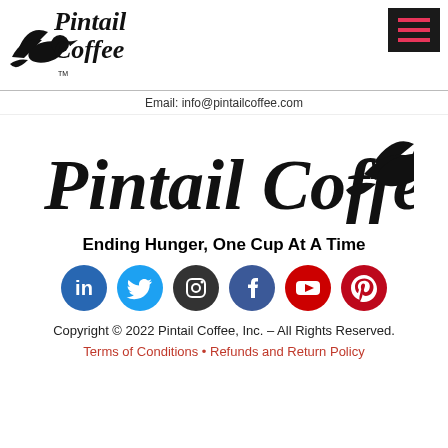[Figure (logo): Pintail Coffee logo with bird icon in top-left header]
[Figure (logo): Hamburger menu icon (three pink lines) on dark background, top-right]
Email: info@pintailcoffee.com
[Figure (logo): Large Pintail Coffee logo with bird/duck icon in italic serif font]
Ending Hunger, One Cup At A Time
[Figure (infographic): Six social media icons: LinkedIn (blue), Twitter (light blue), Instagram (dark gray), Facebook (dark blue), YouTube (red), Pinterest (dark red)]
Copyright © 2022 Pintail Coffee, Inc. – All Rights Reserved.
Terms of Conditions • Refunds and Return Policy